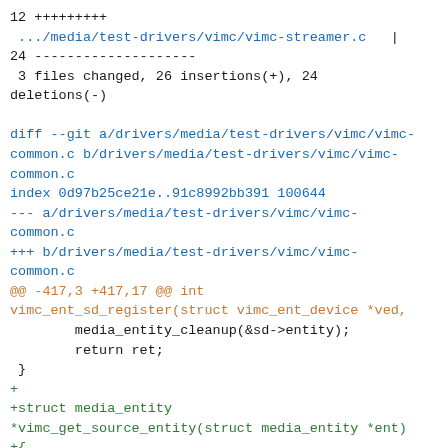12 +++++++++
 .../media/test-drivers/vimc/vimc-streamer.c   |
24 --------------------
 3 files changed, 26 insertions(+), 24 deletions(-)

diff --git a/drivers/media/test-drivers/vimc/vimc-common.c b/drivers/media/test-drivers/vimc/vimc-common.c
index 0d97b25ce21e..91c8992bb391 100644
--- a/drivers/media/test-drivers/vimc/vimc-common.c
+++ b/drivers/media/test-drivers/vimc/vimc-common.c
@@ -417,3 +417,17 @@ int vimc_ent_sd_register(struct vimc_ent_device *ved,
        media_entity_cleanup(&sd->entity);
        return ret;
 }
+
+struct media_entity
*vimc_get_source_entity(struct media_entity *ent)
+{
+       struct media_pad *pad;
+       int i;
+
+       for (i = 0; i < ent->num_pads; i++) {
+               if (ent->pads[i].flags &
MEDIA_PAD_FL_SOURCE)
+                       continue;